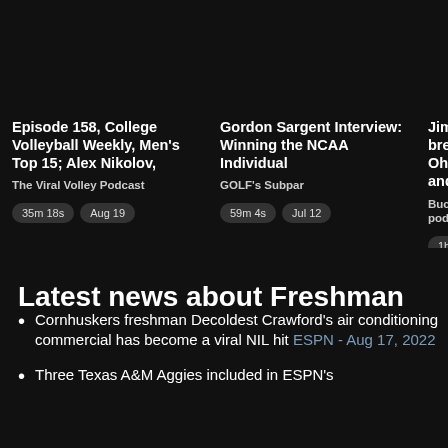[Figure (screenshot): Podcast cards row showing three partially visible podcast episode cards with titles, sources, durations and dates]
Latest news about Freshman
Cornhuskers freshman Decoldest Crawford's air conditioning commercial has become a viral NIL hit ESPN - Aug 17, 2022
Three Texas A&M Aggies included in ESPN's...